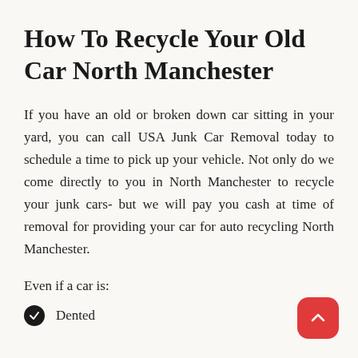How To Recycle Your Old Car North Manchester
If you have an old or broken down car sitting in your yard, you can call USA Junk Car Removal today to schedule a time to pick up your vehicle. Not only do we come directly to you in North Manchester to recycle your junk cars- but we will pay you cash at time of removal for providing your car for auto recycling North Manchester.
Even if a car is:
Dented